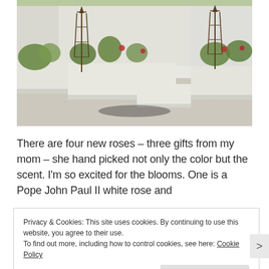[Figure (photo): A modern garden with white raised planter beds arranged in an L-shape, filled with roses and greenery, with gravel ground cover and decorative metal obelisk garden structures.]
There are four new roses – three gifts from my mom – she hand picked not only the color but the scent. I'm so excited for the blooms. One is a Pope John Paul II white rose and
Privacy & Cookies: This site uses cookies. By continuing to use this website, you agree to their use.
To find out more, including how to control cookies, see here: Cookie Policy